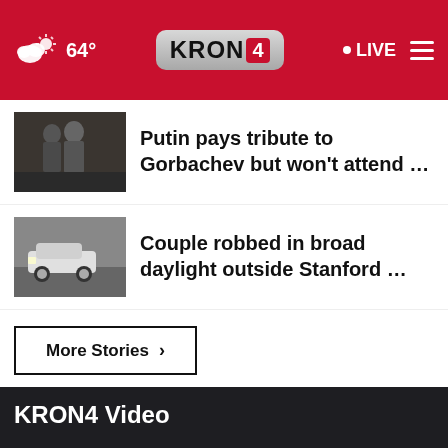64° KRON4 LIVE
Putin pays tribute to Gorbachev but won't attend …
Couple robbed in broad daylight outside Stanford …
More Stories ›
KRON4 Video
No compatible source was found for this media.